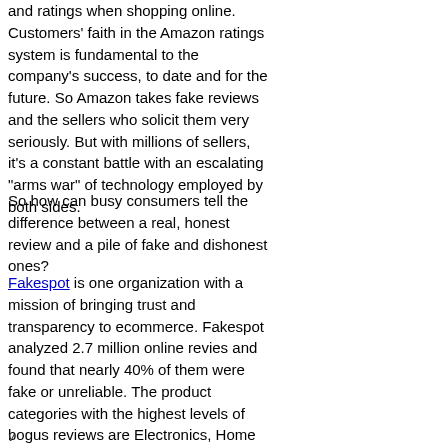and ratings when shopping online. Customers' faith in the Amazon ratings system is fundamental to the company's success, to date and for the future. So Amazon takes fake reviews and the sellers who solicit them very seriously. But with millions of sellers, it's a constant battle with an escalating "arms war" of technology employed by both sides.
So how can busy consumers tell the difference between a real, honest review and a pile of fake and dishonest ones?
Fakespot is one organization with a mission of bringing trust and transparency to ecommerce. Fakespot analyzed 2.7 million online revies and found that nearly 40% of them were fake or unreliable. The product categories with the highest levels of bogus reviews are Electronics, Home Decor, Apparel and Beauty.
v